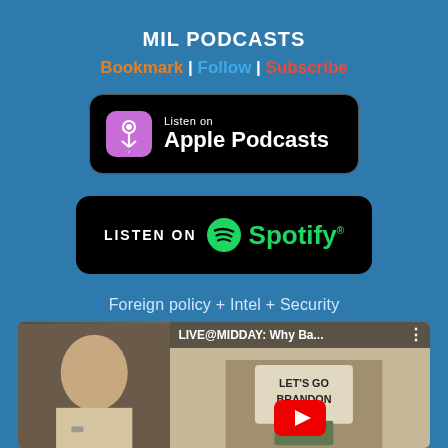MIL PODCASTS
Bookmark | Follow | Subscribe
[Figure (logo): Listen on Apple Podcasts badge — black rounded rectangle with purple podcast icon and white text 'Listen on Apple Podcasts']
[Figure (logo): Listen on Spotify badge — black rounded rectangle with green Spotify logo and text 'LISTEN ON Spotify']
Foreign policy + Intel + Security
[Figure (screenshot): YouTube video thumbnail showing 'LIVE@MIDDAY: Why Ba...' with a man being interviewed on the left and a protest crowd with 'LET'S GO BRANDON' sign on the right, with a red YouTube play button overlay]